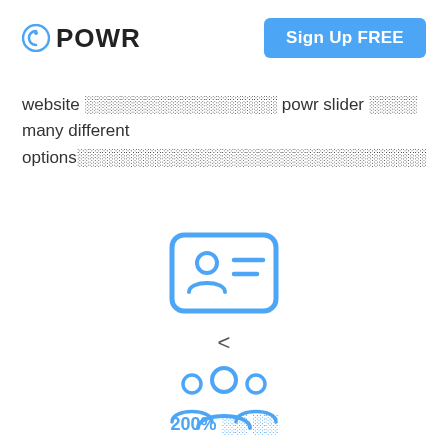POWR   Sign Up FREE
website ░░░░░░░░░░░░░░░░ powr slider ░░░░ many different options░░░░░░░░░░░░░░░░░░░░░░░░░░░░░
[Figure (illustration): Blue ID card icon with person silhouette and horizontal lines]
<
[Figure (illustration): Blue group/people icon showing three person silhouettes]
200% ░░ ░░